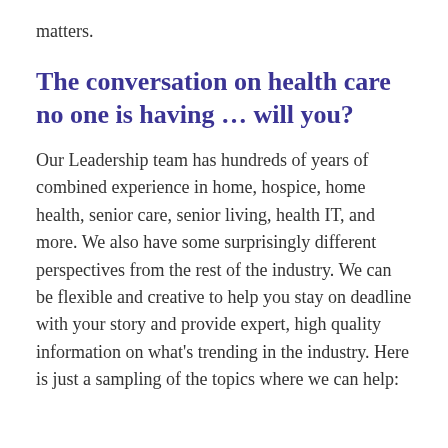matters.
The conversation on health care no one is having … will you?
Our Leadership team has hundreds of years of combined experience in home, hospice, home health, senior care, senior living, health IT, and more. We also have some surprisingly different perspectives from the rest of the industry. We can be flexible and creative to help you stay on deadline with your story and provide expert, high quality information on what's trending in the industry. Here is just a sampling of the topics where we can help: